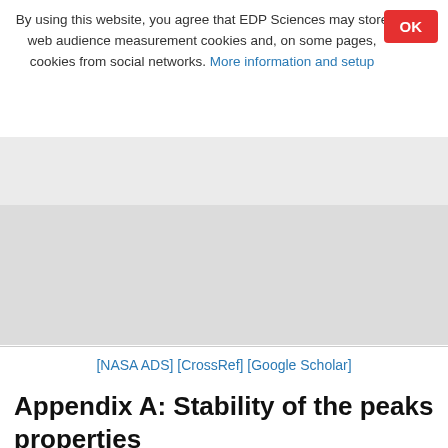By using this website, you agree that EDP Sciences may store web audience measurement cookies and, on some pages, cookies from social networks. More information and setup
[NASA ADS] [CrossRef] [Google Scholar]
Appendix A: Stability of the peaks properties